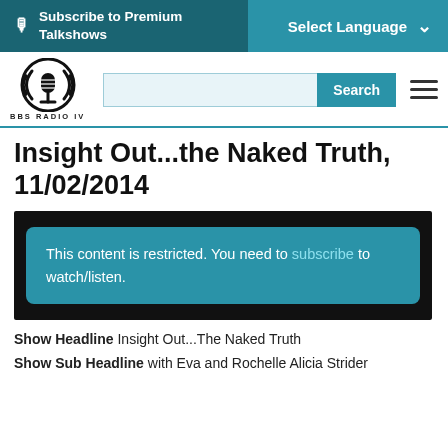Subscribe to Premium Talkshows | Select Language
[Figure (logo): BBS Radio IV circular logo with microphone icon and circular sound waves]
Insight Out...the Naked Truth, 11/02/2014
This content is restricted. You need to subscribe to watch/listen.
Show Headline Insight Out...The Naked Truth
Show Sub Headline with Eva and Rochelle Alicia Strider